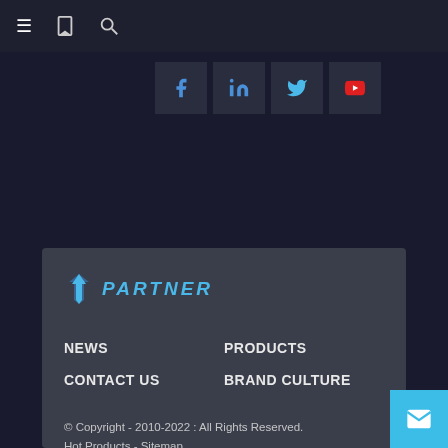Navigation bar with hamburger menu, bookmark icon, search icon
[Figure (other): Social media icon buttons: Facebook (blue), LinkedIn (blue), Twitter (blue), YouTube (red) on dark background tiles]
[Figure (logo): Partner brand logo with blue wing/arrow icon and italic bold blue text PARTNER]
NEWS
PRODUCTS
CONTACT US
BRAND CULTURE
© Copyright - 2010-2022 : All Rights Reserved. Hot Products - Sitemap 1.5 Mountain Bike Fork, Mountain Bike Suspension Fork, Best Mountain Bike Fork, 29 Mountain Fork, Mountain Bike Fork Replacement, 26 Mountain Fork,